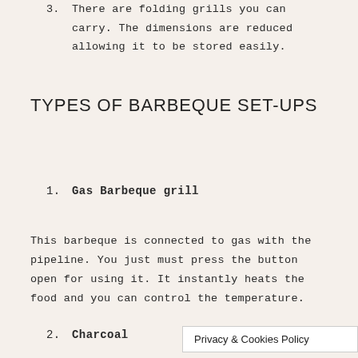3. There are folding grills you can carry. The dimensions are reduced allowing it to be stored easily.
TYPES OF BARBEQUE SET-UPS
1. Gas Barbeque grill
This barbeque is connected to gas with the pipeline. You just must press the button open for using it. It instantly heats the food and you can control the temperature.
2. Charcoal
Privacy & Cookies Policy